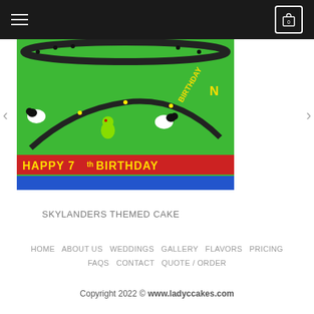Navigation bar with hamburger menu and cart icon
[Figure (photo): Skylanders themed birthday cake with green fondant surface, cartoon character figures, black rope border detail, and 'HAPPY 7th BIRTHDAY' text on a red banner]
SKYLANDERS THEMED CAKE
HOME   ABOUT US   WEDDINGS   GALLERY   FLAVORS   PRICING   FAQS   CONTACT   QUOTE / ORDER   Copyright 2022 © www.ladyccakes.com